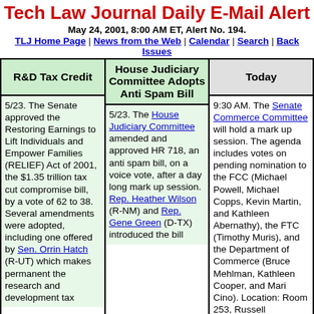Tech Law Journal Daily E-Mail Alert
May 24, 2001, 8:00 AM ET, Alert No. 194.
TLJ Home Page | News from the Web | Calendar | Search | Back Issues
| R&D Tax Credit | House Judiciary Committee Adopts Anti Spam Bill | Today |
| --- | --- | --- |
| 5/23. The Senate approved the Restoring Earnings to Lift Individuals and Empower Families (RELIEF) Act of 2001, the $1.35 trillion tax cut compromise bill, by a vote of 62 to 38. Several amendments were adopted, including one offered by Sen. Orrin Hatch (R-UT) which makes permanent the research and development tax | 5/23. The House Judiciary Committee amended and approved HR 718, an anti spam bill, on a voice vote, after a day long mark up session. Rep. Heather Wilson (R-NM) and Rep. Gene Green (D-TX) introduced the bill | 9:30 AM. The Senate Commerce Committee will hold a mark up session. The agenda includes votes on pending nomination to the FCC (Michael Powell, Michael Copps, Kevin Martin, and Kathleen Abernathy), the FTC (Timothy Muris), and the Department of Commerce (Bruce Mehlman, Kathleen Cooper, and Mari Cino). Location: Room 253, Russell |